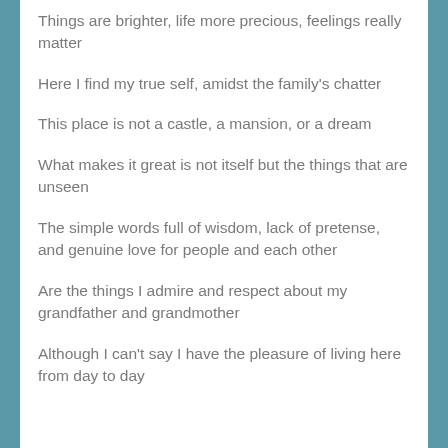Things are brighter, life more precious, feelings really matter
Here I find my true self, amidst the family's chatter
This place is not a castle, a mansion, or a dream
What makes it great is not itself but the things that are unseen
The simple words full of wisdom, lack of pretense, and genuine love for people and each other
Are the things I admire and respect about my grandfather and grandmother
Although I can't say I have the pleasure of living here from day to day